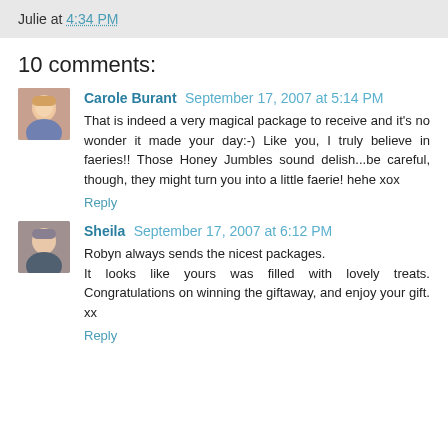Julie at 4:34 PM
10 comments:
Carole Burant September 17, 2007 at 5:14 PM
That is indeed a very magical package to receive and it's no wonder it made your day:-) Like you, I truly believe in faeries!! Those Honey Jumbles sound delish...be careful, though, they might turn you into a little faerie! hehe xox
Reply
Sheila September 17, 2007 at 6:12 PM
Robyn always sends the nicest packages.
It looks like yours was filled with lovely treats. Congratulations on winning the giftaway, and enjoy your gift.
xx
Reply